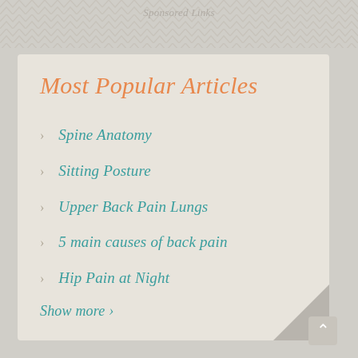Sponsored Links
Most Popular Articles
Spine Anatomy
Sitting Posture
Upper Back Pain Lungs
5 main causes of back pain
Hip Pain at Night
Show more ›